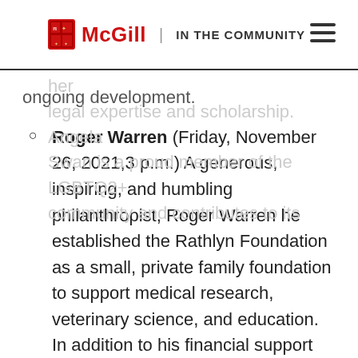McGill | IN THE COMMUNITY
in both Canadian contract law and the inspired and informed several generations of law students with her legal expertise and scholarship. Angela Swan is a proud member of the LGBTQ2+ community and contributes to its ongoing development.
Roger Warren (Friday, November 26, 2021,3 p.m.) A generous, inspiring, and humbling philanthropist, Roger Warren he established the Rathlyn Foundation as a small, private family foundation to support medical research, veterinary science, and education. In addition to his financial support and long-term giving that will continue to benefit students for